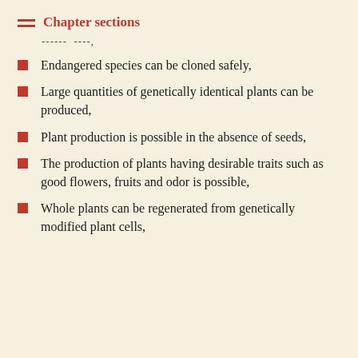Chapter sections
------  ----,
Endangered species can be cloned safely,
Large quantities of genetically identical plants can be produced,
Plant production is possible in the absence of seeds,
The production of plants having desirable traits such as good flowers, fruits and odor is possible,
Whole plants can be regenerated from genetically modified plant cells,